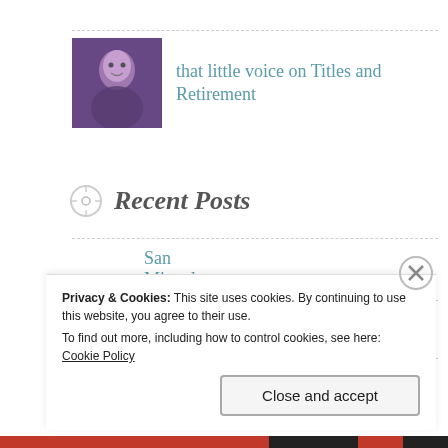that little voice on Titles and Retirement
Recent Posts
San Miguel Artistry
Flower of the Day
Privacy & Cookies: This site uses cookies. By continuing to use this website, you agree to their use.
To find out more, including how to control cookies, see here: Cookie Policy
Close and accept